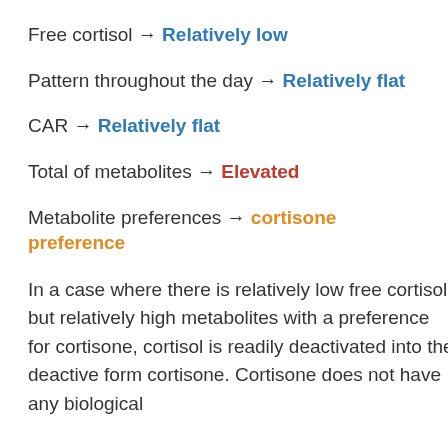Free cortisol → Relatively low
Pattern throughout the day → Relatively flat
CAR → Relatively flat
Total of metabolites → Elevated
Metabolite preferences → cortisone preference
In a case where there is relatively low free cortisol, but relatively high metabolites with a preference for cortisone, cortisol is readily deactivated into the deactive form cortisone. Cortisone does not have any biological